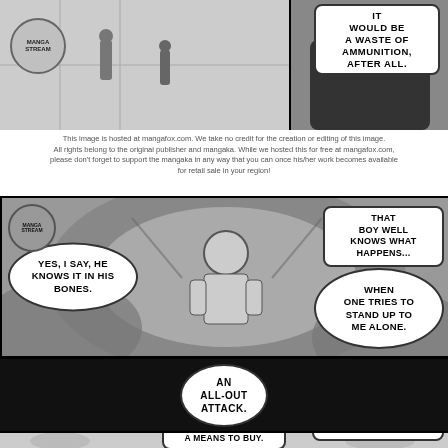[Figure (illustration): Top manga panel: right side shows a villain in a dark cape with speech bubble saying IT WOULD BE A WASTE OF AMMUNITION, AFTER ALL. Left side shows smaller action figures. MangaStream watermark logo top-left.]
This image is hosted at mangafox.com. We take no credit for the creation or editing of this image. All rights belong to the original publisher and mangaka. While we hosted this for free at mangafox.com, please don't forget to support the mangaka in any way that you can once his/her work becomes available for retail sale in your region!
[Figure (illustration): Second manga panel: action scene with a fighter. Left bubble: YES, I SAY, HE KNOWS IT IN HIS BONES. Top-right bubble: THAT BOY WELL KNOWS WHAT HAPPENS... Bottom-right bubble: WHEN ONE TRIES TO STAND UP TO ME ALONE.]
[Figure (illustration): Black panel with white speech bubble in center: AN ALL-OUT ATTACK.]
[Figure (illustration): Bottom manga panel: characters speaking. Left bubble: HE READ US COMPLETELY...! Center bubble: WHICH MEANS THIS GAME IS BUT A MEANS TO BUY. Right bubble: IF I WAS IN THAT BOY'S POSITION, I'D ONLY STRIKE AT SUCH AN ENEMY WITH MY ENTIRE FORCES AT ONCE.]